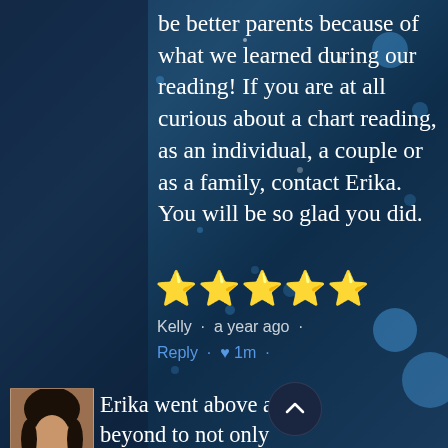be better parents because of what we learned during our reading! If you are at all curious about a chart reading, as an individual, a couple or as a family, contact Erika. You will be so glad you did.
[Figure (other): Five gold star rating]
Kelly · a year ago ·
Reply · ♥ 1m ·
[Figure (photo): Avatar photo of a woman with dark hair]
Erika went above and beyond to not only tell me about what is in my chart but also how that information